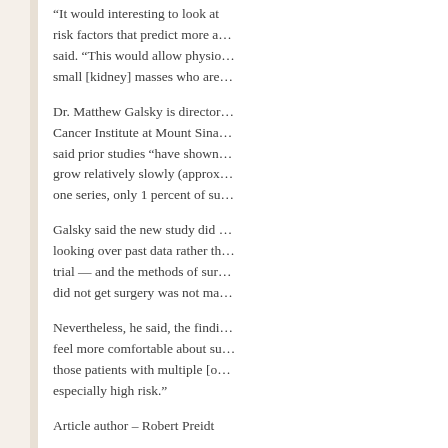“It would interesting to look at risk factors that predict more a… said. “This would allow physio… small [kidney] masses who are…
Dr. Matthew Galsky is director… Cancer Institute at Mount Sina… said prior studies “have shown… grow relatively slowly (appro… one series, only 1 percent of su…
Galsky said the new study did… looking over past data rather th… trial — and the methods of sur… did not get surgery was not ma…
Nevertheless, he said, the findi… feel more comfortable about su… those patients with multiple [o… especially high risk.”
Article author – Robert Preidt